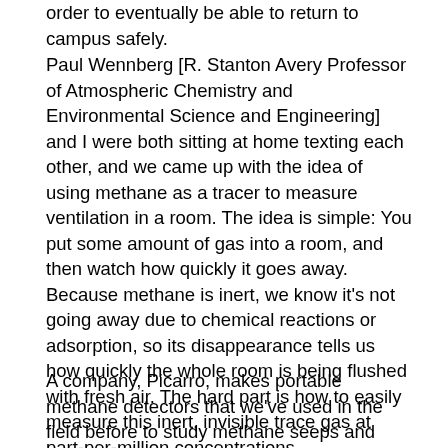order to eventually be able to return to campus safely.
Paul Wennberg [R. Stanton Avery Professor of Atmospheric Chemistry and Environmental Science and Engineering] and I were both sitting at home texting each other, and we came up with the idea of using methane as a tracer to measure ventilation in a room. The idea is simple: You put some amount of gas into a room, and then watch how quickly it goes away. Because methane is inert, we know it's not going away due to chemical reactions or adsorption, so its disappearance tells us how quickly the whole room is being flushed with fresh air. The hard part is how to easily measure this inert, invisible trace gas at part-per-million concentrations.
A company, Picarro, makes portable methane detectors that we've used in the field before to study methane seeps and methane-producing sediments. The divisions of GPS [Geological and Planetary Sciences] and CCE